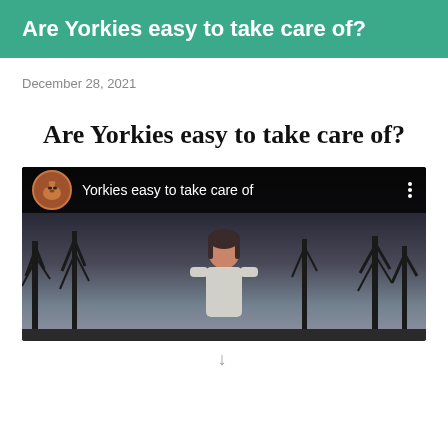Are Yorkies easy to take care of?
December 28, 2021
Are Yorkies easy to take care of?
[Figure (screenshot): Embedded video thumbnail showing a woman outdoors in a park or wooded area with bare trees. Video top bar shows a dog avatar icon and channel text 'Yorkies easy to take care of' with a three-dot menu on the right.]
↓